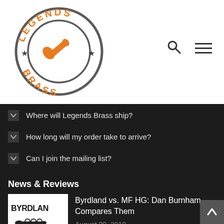[Figure (logo): Legends Brass circular logo with orange text 'LEGENDS BRASS' around the border, two stars, and an orange trumpet valve/mute in the center, gray circle outline.]
Where will Legends Brass ship?
How long will my order take to arrive?
Can I join the mailing list?
News & Reviews
[Figure (photo): Thumbnail image showing 'BYRDLAND' text with a trumpet silhouette below, labeled 'Jazz Corner of Legends Brass']
Byrdland vs. MF HG: Dan Burnham Compares Them
August 20, 2018